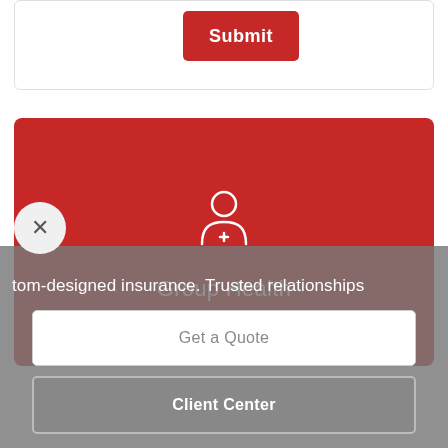[Figure (screenshot): Submit button on a white card at the top of the page]
[Figure (illustration): Red card with a doctor/health icon and 'Group Health' label]
[Figure (other): Gray overlay panel with close X button, tagline text, Get a Quote button, and Client Center button]
tom-designed insurance. Trusted relationships
Get a Quote
Client Center